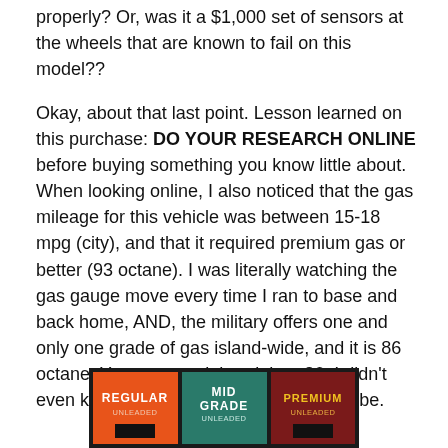properly? Or, was it a $1,000 set of sensors at the wheels that are known to fail on this model??
Okay, about that last point. Lesson learned on this purchase: DO YOUR RESEARCH ONLINE before buying something you know little about. When looking online, I also noticed that the gas mileage for this vehicle was between 15-18 mpg (city), and that it required premium gas or better (93 octane). I was literally watching the gas gauge move every time I ran to base and back home, AND, the military offers one and only one grade of gas island-wide, and it is 86 octane. Yes, you read that right – 86. I didn't even know such fuel was made or avaialbe.
[Figure (photo): Fuel grade sign showing three panels: REGULAR UNLEADED (orange), MID GRADE UNLEADED (teal/green), and PREMIUM UNLEADED (dark red/maroon with yellow text), set against a black background.]